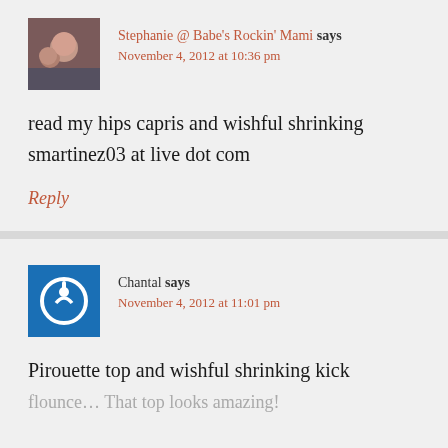Stephanie @ Babe's Rockin' Mami says
November 4, 2012 at 10:36 pm
read my hips capris and wishful shrinking smartinez03 at live dot com
Reply
Chantal says
November 4, 2012 at 11:01 pm
Pirouette top and wishful shrinking kick flounce... That top looks amazing!